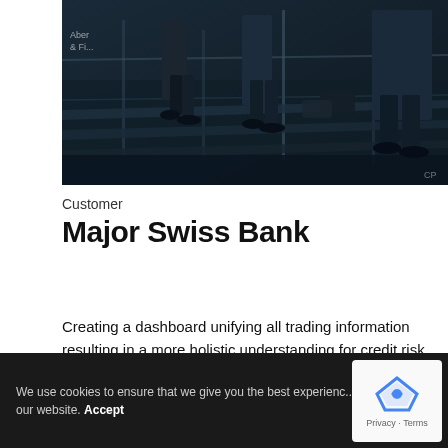[Figure (photo): People walking on stairs in a modern office building, dark moody tones, business professionals.]
Customer
Major Swiss Bank
Creating a dashboard unifying all trading information resulting in a more holistic understanding for credit risk officers and substantial risk reduction
We use cookies to ensure that we give you the best experience on our website. Accept